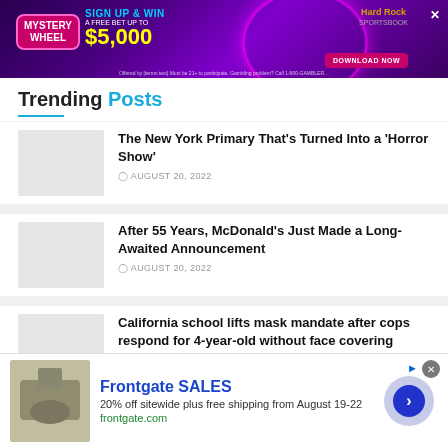[Figure (screenshot): Hard Rock Sportsbook advertisement banner with purple neon background. Mystery Wheel promotion: Sign Up & Win a Free Bet Up To $5,000. Download Now button.]
Trending Posts
[Figure (photo): Thumbnail image placeholder for article 1]
The New York Primary That's Turned Into a 'Horror Show'
AUGUST 20, 2022
[Figure (photo): Thumbnail image placeholder for article 2]
After 55 Years, McDonald's Just Made a Long-Awaited Announcement
AUGUST 20, 2022
[Figure (photo): Thumbnail image placeholder for article 3]
California school lifts mask mandate after cops respond for 4-year-old without face covering being sent home
[Figure (screenshot): Frontgate Sales advertisement. 20% off sitewide plus free shipping from August 19-22. frontgate.com. Arrow button to proceed.]